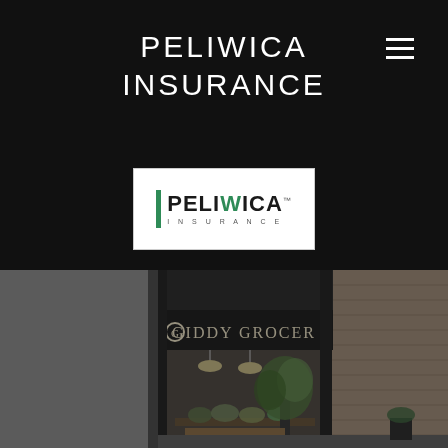PELIWICA INSURANCE
[Figure (logo): Peliwica Insurance logo with green vertical bar and PELIWICA text in dark letters with INSURANCE subtitle]
[Figure (photo): Storefront of Giddy Grocer shop in dark tones, showing signage, display window with produce, and plants outside]